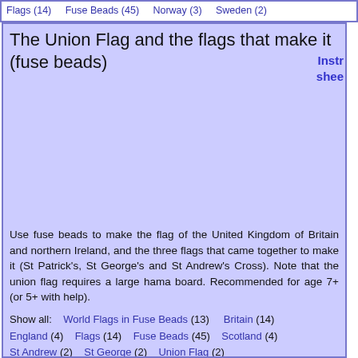Flags (14)   Fuse Beads (45)   Norway (3)   Sweden (2)
The Union Flag and the flags that make it (fuse beads)
Use fuse beads to make the flag of the United Kingdom of Britain and northern Ireland, and the three flags that came together to make it (St Patrick's, St George's and St Andrew's Cross). Note that the union flag requires a large hama board. Recommended for age 7+ (or 5+ with help).
Show all:   World Flags in Fuse Beads (13)   Britain (14)   England (4)   Flags (14)   Fuse Beads (45)   Scotland (4)   St Andrew (2)   St George (2)   Union Flag (2)